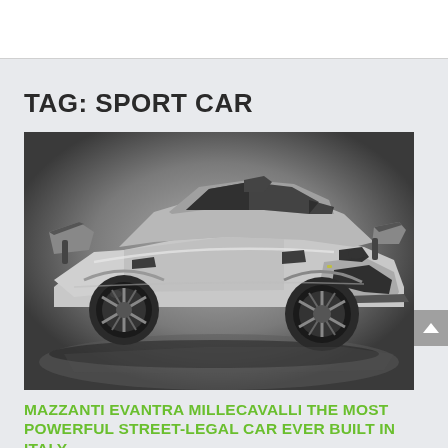TAG: SPORT CAR
[Figure (photo): Silver/grey Mazzanti Evantra Millecavalli supercar photographed in a studio against a dark grey gradient background. The car is a low, wide, aggressive-looking sports car with large rear wing, wide body kit, and multi-spoke alloy wheels.]
MAZZANTI EVANTRA MILLECAVALLI THE MOST POWERFUL STREET-LEGAL CAR EVER BUILT IN ITALY